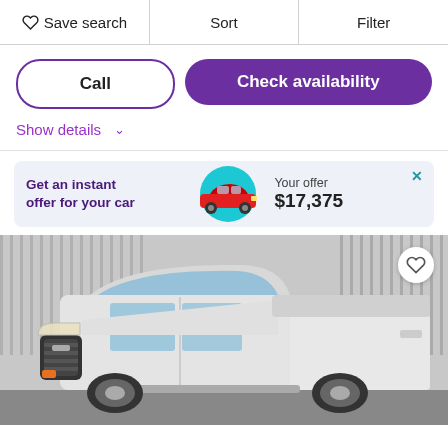Save search | Sort | Filter
Call
Check availability
Show details
[Figure (screenshot): Advertisement banner: 'Get an instant offer for your car' with a red Dodge Charger car image on a teal circle background, and text 'Your offer $17,375']
[Figure (photo): White RAM 1500 pickup truck photographed from the front-left angle inside a dealership with a corrugated metal wall background.]